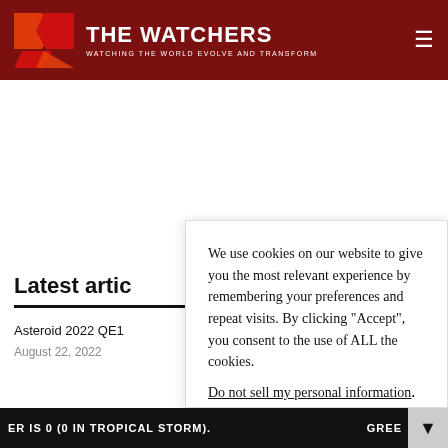THE WATCHERS — WATCHING THE WORLD EVOLVE AND TRANSFORM
Latest artic
Asteroid 2022 QE1
August 22, 2022
We use cookies on our website to give you the most relevant experience by remembering your preferences and repeat visits. By clicking “Accept”, you consent to the use of ALL the cookies.
Do not sell my personal information.
ER IS 0 (0 IN TROPICAL STORM). GREE